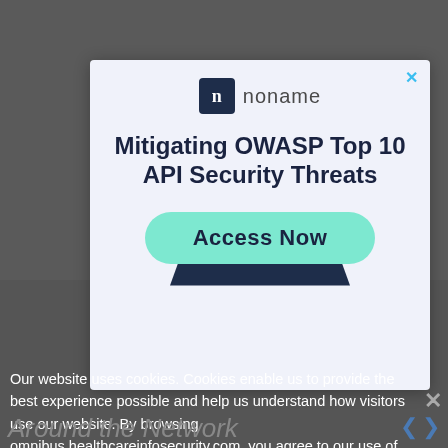[Figure (screenshot): Advertisement popup for 'noname' API security product. Shows 'noname' logo with navy square icon containing letter n, heading 'Mitigating OWASP Top 10 API Security Threats', and a teal 'Access Now' button with dark navy shadow shape behind it. Light blue/gray background. Close X button in top right corner.]
Our website uses cookies. Cookies enable us to provide the best experience possible and help us understand how visitors use our website. By browsing omnibus.healthcareinfosecurity.com, you agree to our use of cookies.
Around the Network